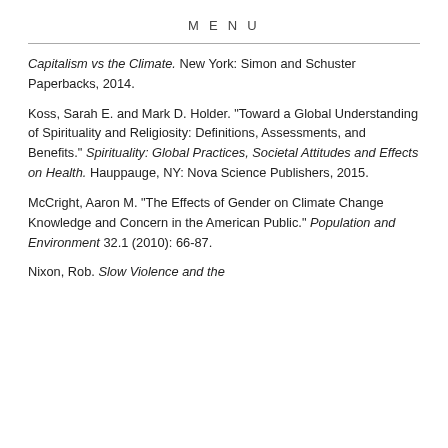MENU
Capitalism vs the Climate. New York: Simon and Schuster Paperbacks, 2014.
Koss, Sarah E. and Mark D. Holder. "Toward a Global Understanding of Spirituality and Religiosity: Definitions, Assessments, and Benefits." Spirituality: Global Practices, Societal Attitudes and Effects on Health. Hauppauge, NY: Nova Science Publishers, 2015.
McCright, Aaron M. "The Effects of Gender on Climate Change Knowledge and Concern in the American Public." Population and Environment 32.1 (2010): 66-87.
Nixon, Rob. Slow Violence and the